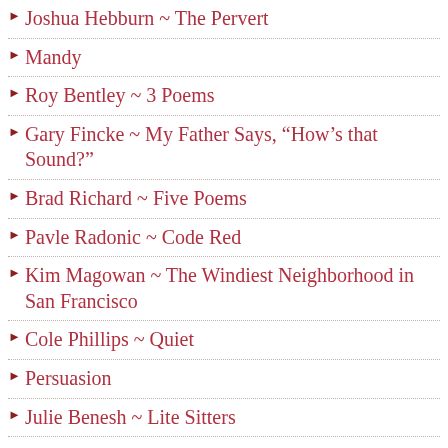Joshua Hebburn ~ The Pervert
Mandy
Roy Bentley ~ 3 Poems
Gary Fincke ~ My Father Says, “How’s that Sound?”
Brad Richard ~ Five Poems
Pavle Radonic ~ Code Red
Kim Magowan ~ The Windiest Neighborhood in San Francisco
Cole Phillips ~ Quiet
Persuasion
Julie Benesh ~ Lite Sitters
Yuan Changming ~ Five Poems
Susan Grimm ~ Three Poems